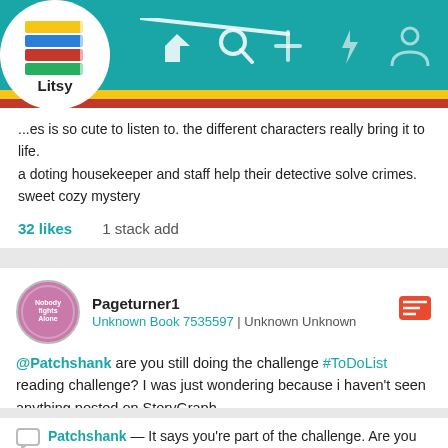[Figure (screenshot): Litsy app logo with stacked colorful books and 'Litsy' text]
...es is so cute to listen to. the different characters really bring it to life.
a doting housekeeper and staff help their detective solve crimes.
sweet cozy mystery
32 likes    1 stack add
Pageturner1
Unknown Book 7535597 | Unknown Unknown
@Patchshank are you still doing the challenge #ToDoList reading challenge? I was just wondering because i haven't seen anything posted on StoryGraph
Patchshank — It says you're part of the challenge. Are you wanting me to post some of the books I plan on reading? This is